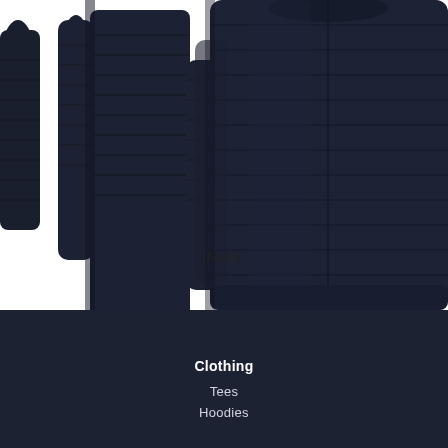[Figure (photo): Multiple navy blue puffer/quilted down jackets arranged overlapping against a white background, showing front view of the jackets with horizontal quilted stitching and a central zipper]
Navy
Clothing
Tees
Hoodies